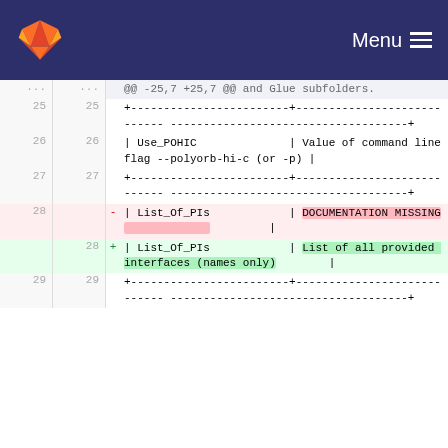GitLab — Menu
[Figure (screenshot): GitLab diff view showing changes to documentation lines 25-29, with line 28 removed (List_Of_PIs with DOCUMENTATION MISSING) and line 28 added (List_Of_PIs with List of all provided interfaces (names only))]
@@ -25,7 +25,7 @@ and Glue subfolders.
25 25  +------------------------+-----------...----+
26 26  | Use_POHIC              | Value of command line flag --polyorb-hi-c (or -p) |
27 27  +------------------------+-----------...----+
28  -  | List_Of_PIs            | DOCUMENTATION MISSING [highlighted] |
28 +  | List_Of_PIs            | List of all provided interfaces (names only) |
29 29  +------------------------+-----------...----+